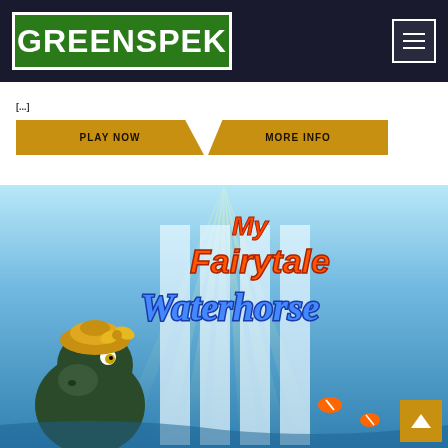GREENSPEK — navigation header with menu button
[...]
PLAY NOW | MORE INFO
[Figure (illustration): My Fairytale Waterhorse slot game promotional image showing colorful title text and a cartoon waterhorse character with a golden crown/turban against a blue water background with light rays]